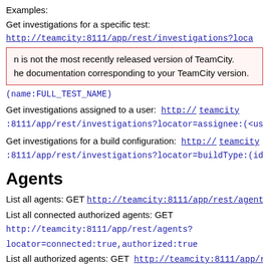Examples:
Get investigations for a specific test:
http://teamcity:8111/app/rest/investigations?loca
n is not the most recently released version of TeamCity. he documentation corresponding to your TeamCity version.
(name:FULL_TEST_NAME)
Get investigations assigned to a user:  http:// teamcity :8111/app/rest/investigations?locator=assignee:(<us
Get investigations for a build configuration:  http:// teamcity :8111/app/rest/investigations?locator=buildType:(id
Agents
List all agents: GET  http://teamcity:8111/app/rest/agents
List all connected authorized agents: GET http://teamcity:8111/app/rest/agents?locator=connected:true,authorized:true
List all authorized agents: GET  http://teamcity:8111/app/re locator=authorized:true
List all enabled authorized agents: GET http://teamcity:8111/a locator=enabled:true,authorized:true